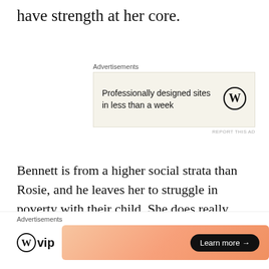have strength at her core.
[Figure (other): Advertisement block: 'Professionally designed sites in less than a week' with WordPress logo on beige background]
Bennett is from a higher social strata than Rosie, and he leaves her to struggle in poverty with their child. She does really well, I think, surviving, but the book does look at the difference between his set and her life. The difference between being rich and poor in America.
[Figure (other): Bottom advertisement bar: WordPress VIP logo with gradient orange/pink rectangle and 'Learn more' button]